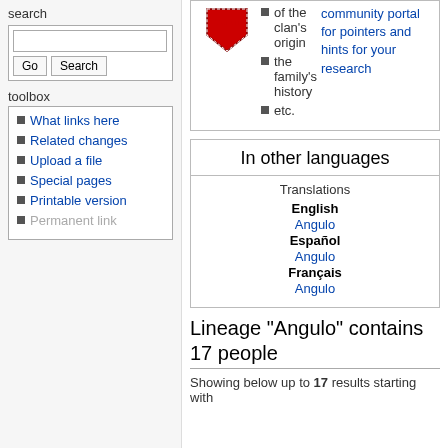search
toolbox
What links here
Related changes
Upload a file
Special pages
Printable version
Permanent link
[Figure (illustration): Clan Martin heraldic image with red shield/crest]
of the clan's origin
the family's history
etc.
community portal for pointers and hints for your research
In other languages
Translations
English
Angulo
Español
Angulo
Français
Angulo
Lineage "Angulo" contains 17 people
Showing below up to 17 results starting with